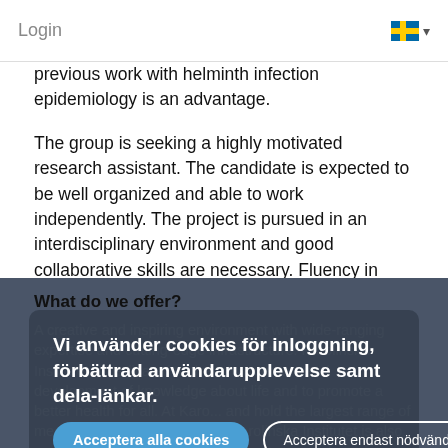Login
previous work with helminth infection epidemiology is an advantage.
The group is seeking a highly motivated research assistant. The candidate is expected to be well organized and able to work independently. The project is pursued in an interdisciplinary environment and good collaborative skills are necessary. Fluency in English is mandatory.
What do we offer?
A creative and inspiring environment with wide-ranging expertise and cutting-edge infrastructure. Karolinska Institutet is dedicated to the advancement and development of knowledge about life and to promote a better health for all. At Karo... and hold the largest range of medical education in Sweden. Karolinska Institutet is also a state university, which entitles you to several good benefits including our subsided Agreement, and you get to practice freely in our modern wellness facilities, where trained staff are on site.
Vi använder cookies för inloggning, förbättrad användarupplevelse samt dela-länkar.
Acceptera alla cookies
Acceptera endast nödvändiga
Läs mer om våra cookies här